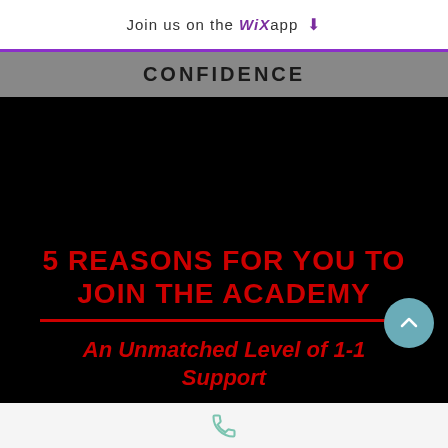Join us on the WiX app ⬇
CONFIDENCE
[Figure (screenshot): Black background promotional image with bold red text reading '5 REASONS FOR YOU TO JOIN THE ACADEMY' with a red horizontal divider line, followed by italic red text 'An Unmatched Level of 1-1 Support'. A teal circular back-to-top button is visible in the lower right.]
Phone icon navigation bar